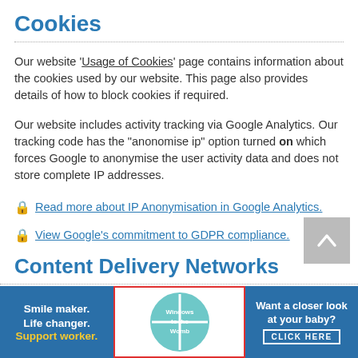Cookies
Our website ‘Usage of Cookies’ page contains information about the cookies used by our website. This page also provides details of how to block cookies if required.
Our website includes activity tracking via Google Analytics. Our tracking code has the "anonomise ip" option turned on which forces Google to anonymise the user activity data and does not store complete IP addresses.
🔒 Read more about IP Anonymisation in Google Analytics.
🔒 View Google's commitment to GDPR compliance.
Content Delivery Networks
[Figure (infographic): Three advertisement banners at the bottom: 1) Blue banner with white bold text 'Smile maker. Life changer.' and yellow bold text 'Support worker.' 2) White banner with red border containing a circular teal logo reading 'Windows to the Womb' 3) Teal/blue banner with white bold text 'Want a closer look at your baby?' and 'CLICK HERE' button]